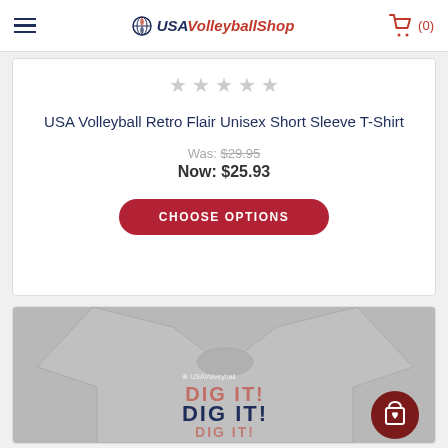USA Volleyball Shop — (0)
★★★★★ (empty stars)
USA Volleyball Retro Flair Unisex Short Sleeve T-Shirt
Was: $29.95
Now: $25.93
CHOOSE OPTIONS
[Figure (photo): Gray t-shirt with 'DIG IT!' text in red and navy blue, repeated three times, with USA Volleyball logo on chest]